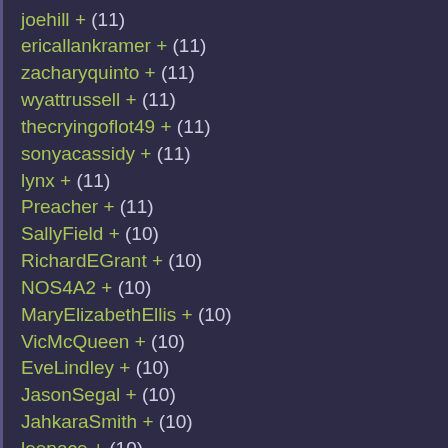joehill + (11)
ericallankramer + (11)
zacharyquinto + (11)
wyattrussell + (11)
thecryingoflot49 + (11)
sonyacassidy + (11)
lynx + (11)
Preacher + (11)
SallyField + (10)
RichardEGrant + (10)
NOS4A2 + (10)
MaryElizabethEllis + (10)
VicMcQueen + (10)
EveLindley + (10)
JasonSegal + (10)
JahkaraSmith + (10)
leepace + (10)
Christmasland + (10)
CharlieManx + (10)
DispatchesFromElsewhere + (10)